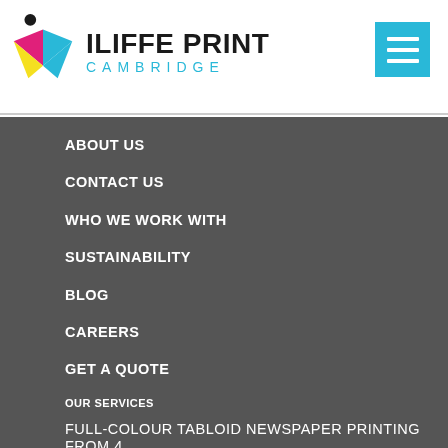[Figure (logo): Iliffe Print Cambridge logo with colorful arrow/chevron graphic and company name text]
ABOUT US
CONTACT US
WHO WE WORK WITH
SUSTAINABILITY
BLOG
CAREERS
GET A QUOTE
OUR SERVICES
FULL-COLOUR TABLOID NEWSPAPER PRINTING FROM 4
UP TO 192 PAGES.
ON-LINE MAGAZINE AND LEAFLET INSERTION